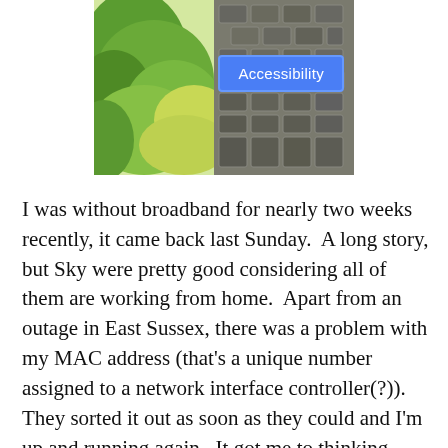[Figure (photo): Outdoor photo showing green plants/moss on the left side and grey cobblestone/brick paving on the right side, with an 'Accessibility' button overlaid in the upper right area of the image.]
I was without broadband for nearly two weeks recently, it came back last Sunday.  A long story, but Sky were pretty good considering all of them are working from home.  Apart from an outage in East Sussex, there was a problem with my MAC address (that's a unique number assigned to a network interface controller(?)).  They sorted it out as soon as they could and I'm up and running again.  It got me to thinking – what did I do before the Internet?  I